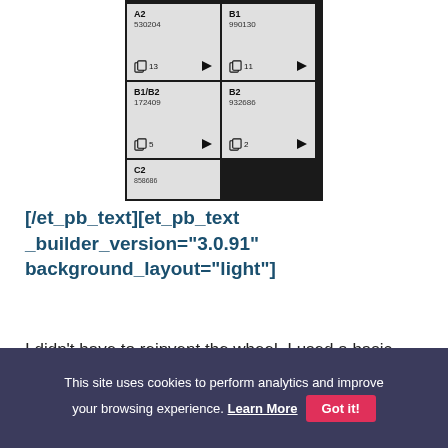[Figure (screenshot): A mobile app grid showing course/lesson tiles: A2 (530204, 13 copies, play), B1 (990130, 11 copies, play), B1/B2 (172409, 5 copies, play), B2 (932686, 2 copies, play), C2 (partially visible)]
[/et_pb_text][et_pb_text _builder_version="3.0.91" background_layout="light"]
I didn't have to reinvent the wheel. I used a basic pedagogical idea and technology
This site uses cookies to perform analytics and improve your browsing experience. Learn More  Got it!